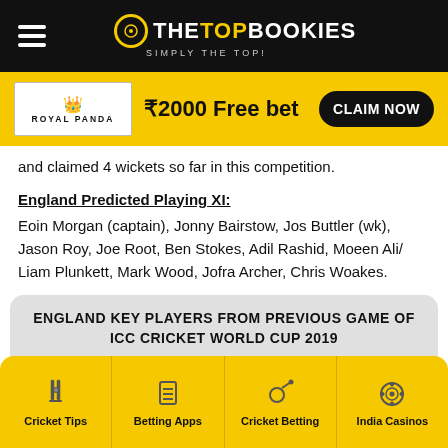THE TOP BOOKIES - SIMPLY THE TOP!
[Figure (infographic): Royal Panda banner: ₹2000 Free bet with CLAIM NOW button]
and claimed 4 wickets so far in this competition.
England Predicted Playing XI:
Eoin Morgan (captain), Jonny Bairstow, Jos Buttler (wk), Jason Roy, Joe Root, Ben Stokes, Adil Rashid, Moeen Ali/ Liam Plunkett, Mark Wood, Jofra Archer, Chris Woakes.
ENGLAND KEY PLAYERS FROM PREVIOUS GAME OF ICC CRICKET WORLD CUP 2019
Cricket Tips | Betting Apps | Cricket Betting | India Casinos